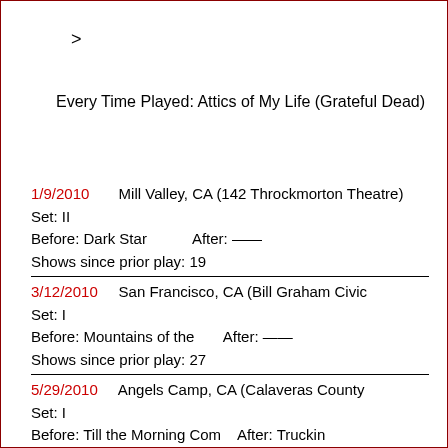>
Every Time Played: Attics of My Life (Grateful Dead)
1/9/2010   Mill Valley, CA (142 Throckmorton Theatre)
Set: II
Before: Dark Star   After: ——
Shows since prior play: 19
3/12/2010   San Francisco, CA (Bill Graham Civic
Set: I
Before: Mountains of the   After: ——
Shows since prior play: 27
5/29/2010   Angels Camp, CA (Calaveras County
Set: I
Before: Till the Morning Com   After: Truckin
Shows since prior play: 4
6/25/2010   Rochester, NY (Highland Bowl Amphitheatre)